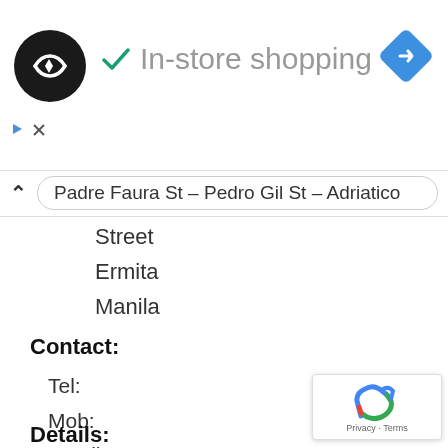[Figure (logo): Black circle logo with double arrow symbol and checkmark with 'In-store shopping' text and blue navigation diamond]
Padre Faura St – Pedro Gil St – Adriatico Street
Ermita
Manila
Contact:
Tel:
Mob:
Email:
Web:
Details: